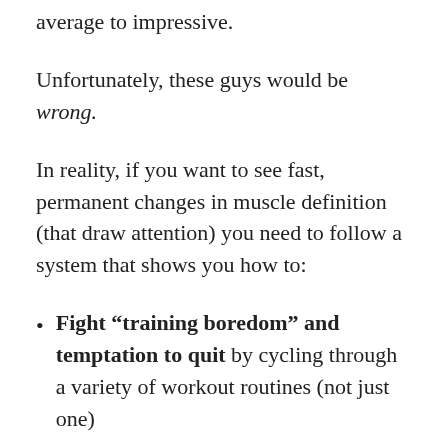average to impressive.
Unfortunately, these guys would be wrong.
In reality, if you want to see fast, permanent changes in muscle definition (that draw attention) you need to follow a system that shows you how to:
Fight “training boredom” and temptation to quit by cycling through a variety of workout routines (not just one)
Supercharge your muscle-building and fat-loss processes with a targeted diet plan matching your goals
Remove all the nutrition guesswork